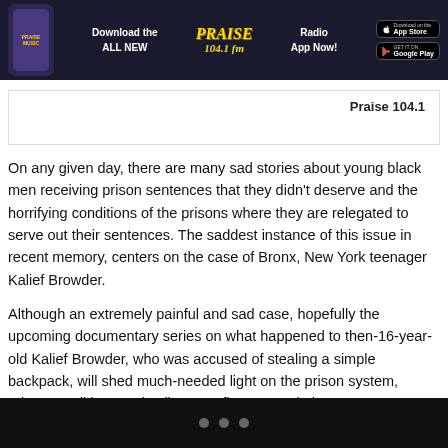[Figure (infographic): Banner advertisement for Praise 104.1 FM radio app showing a phone graphic, 'Download the ALL NEW' text, Praise 104.1 fm logo, 'Radio App Now!' text, and App Store / Google Play download buttons]
Praise 104.1
On any given day, there are many sad stories about young black men receiving prison sentences that they didn't deserve and the horrifying conditions of the prisons where they are relegated to serve out their sentences. The saddest instance of this issue in recent memory, centers on the case of Bronx, New York teenager Kalief Browder.
Although an extremely painful and sad case, hopefully the upcoming documentary series on what happened to then-16-year-old Kalief Browder, who was accused of stealing a simple backpack, will shed much-needed light on the prison system, prison conditions and solitary confinement. Hip hop...